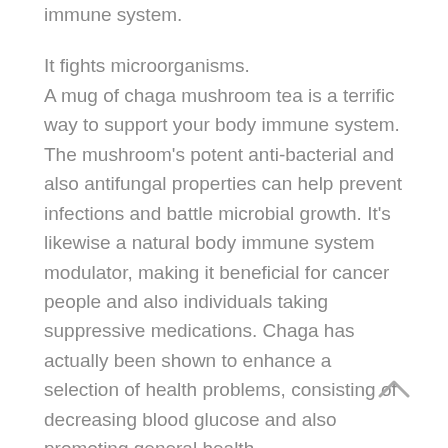immune system.
It fights microorganisms. A mug of chaga mushroom tea is a terrific way to support your body immune system. The mushroom's potent anti-bacterial and also antifungal properties can help prevent infections and battle microbial growth. It's likewise a natural body immune system modulator, making it beneficial for cancer people and also individuals taking suppressive medications. Chaga has actually been shown to enhance a selection of health problems, consisting of decreasing blood glucose and also promoting general health.
This medical mushroom grows in cool, wet areas of the United States, Canada, and also the Arctic. It has a